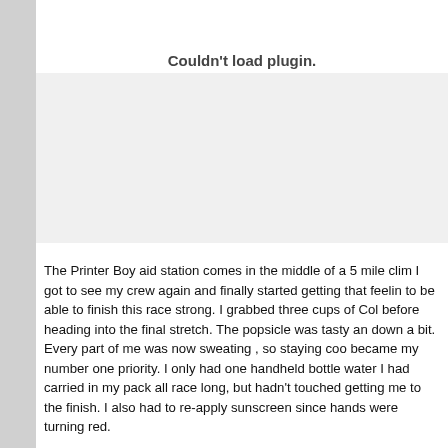[Figure (other): Couldn't load plugin. Large grey/empty area where a plugin or embedded media failed to load.]
The Printer Boy aid station comes in the middle of a 5 mile clim... I got to see my crew again and finally started getting that feelin... to be able to finish this race strong. I grabbed three cups of Col... before heading into the final stretch. The popsicle was tasty an... down a bit. Every part of me was now sweating , so staying coo... became my number one priority. I only had one handheld bottle... water I had carried in my pack all race long, but hadn't touched... getting me to the finish. I also had to re-apply sunscreen since... hands were turning red.
The final miles to the finish were a bit surreal. I kept laughing a... miles rolled along. I had never seen those kind of numbers on i...